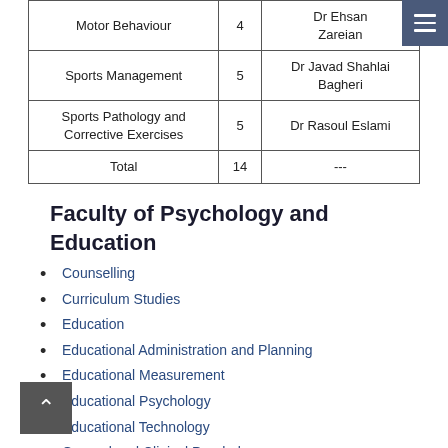| Subject | Capacity | Supervisor |
| --- | --- | --- |
| Motor Behaviour | 4 | Dr Ehsan Zareian |
| Sports Management | 5 | Dr Javad Shahlai Bagheri |
| Sports Pathology and Corrective Exercises | 5 | Dr Rasoul Eslami |
| Total | 14 | --- |
Faculty of Psychology and Education
Counselling
Curriculum Studies
Education
Educational Administration and Planning
Educational Measurement
Educational Psychology
Educational Technology
General and Clinical Psychology
Knowledge and Information Science